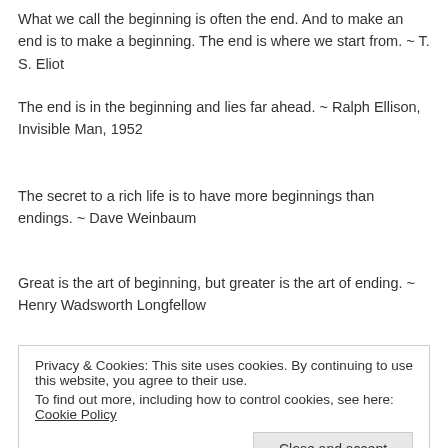What we call the beginning is often the end. And to make an end is to make a beginning. The end is where we start from. ~ T. S. Eliot
The end is in the beginning and lies far ahead. ~ Ralph Ellison, Invisible Man, 1952
The secret to a rich life is to have more beginnings than endings. ~ Dave Weinbaum
Great is the art of beginning, but greater is the art of ending. ~ Henry Wadsworth Longfellow
Privacy & Cookies: This site uses cookies. By continuing to use this website, you agree to their use.
To find out more, including how to control cookies, see here: Cookie Policy
Close and accept